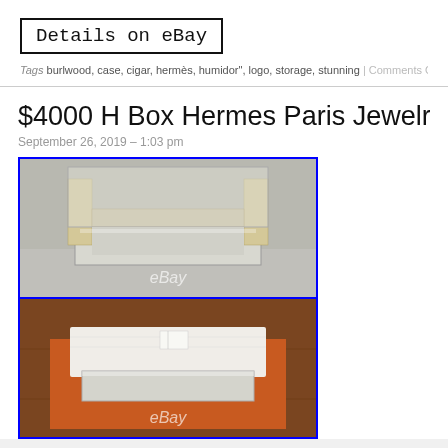Details on eBay
Tags burlwood, case, cigar, hermès, humidor", logo, storage, stunning | Comments Off
$4000 H Box Hermes Paris Jewelry Cas…
September 26, 2019 – 1:03 pm
[Figure (photo): Top view of an open silver metal Hermes H Box jewelry case with beige interior and H-shaped divider, with eBay watermark]
[Figure (photo): Hermes H Box jewelry case closed, showing polished silver exterior with wrapped white tissue paper inside an orange Hermes box, with eBay watermark]